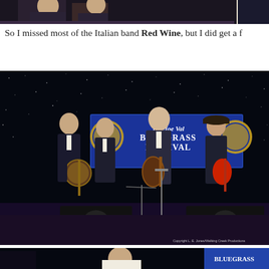[Figure (photo): Top partial photo of performers or event, cropped at top of page]
So I missed most of the Italian band Red Wine, but I did get a f
[Figure (photo): Musicians performing on stage at The Joe Val Bluegrass Festival. Three men in suits playing instruments (banjo, mandolin, guitar) in front of a banner reading 'The Joe Val Bluegrass Festival'. Dark starry backdrop. Copyright L.E. Jones/Walking Creek Productions.]
[Figure (photo): Bottom partial photo showing bluegrass festival scene, cropped at bottom of page]